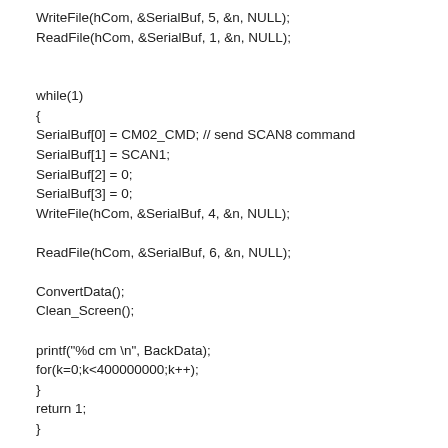WriteFile(hCom, &SerialBuf, 5, &n, NULL);
ReadFile(hCom, &SerialBuf, 1, &n, NULL);


while(1)
{
SerialBuf[0] = CM02_CMD; // send SCAN8 command
SerialBuf[1] = SCAN1;
SerialBuf[2] = 0;
SerialBuf[3] = 0;
WriteFile(hCom, &SerialBuf, 4, &n, NULL);

ReadFile(hCom, &SerialBuf, 6, &n, NULL);

ConvertData();
Clean_Screen();

printf("%d cm \n", BackData);
for(k=0;k<400000000;k++);
}
return 1;
}


void SetupCommPort(LPCTSTR comport)
{
DCB dcb;
COMMTIMEOUTS ct;

CloseHandle(hCom);